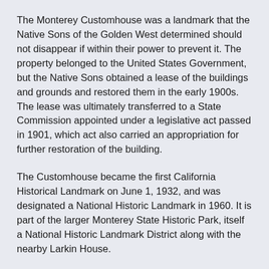The Monterey Customhouse was a landmark that the Native Sons of the Golden West determined should not disappear if within their power to prevent it. The property belonged to the United States Government, but the Native Sons obtained a lease of the buildings and grounds and restored them in the early 1900s. The lease was ultimately transferred to a State Commission appointed under a legislative act passed in 1901, which act also carried an appropriation for further restoration of the building.
The Customhouse became the first California Historical Landmark on June 1, 1932, and was designated a National Historic Landmark in 1960. It is part of the larger Monterey State Historic Park, itself a National Historic Landmark District along with the nearby Larkin House.
Image Courtesy of Wikimedia and Jsweida
Sight description based on Wikipedia